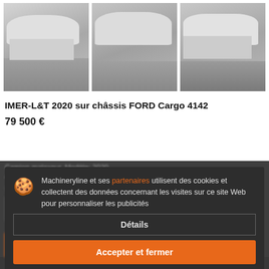[Figure (photo): Three photographs of a FORD Cargo 4142 cement mixer truck (IMER-L&T 2020) shown from different angles in a grid of three side-by-side images.]
IMER-L&T 2020 sur châssis FORD Cargo 4142
79 500 €
Camion malaxeur. Modèle: 2020. Année: 2020. Kilométrage: 38000 km...
Turquie
Vous vendez des machines et des véhicules ?
Cookie notice: Machineryline et ses partenaires utilisent des cookies et collectent des données concernant les visites sur ce site Web pour personnaliser les publicités. [Détails] [Accepter et fermer]